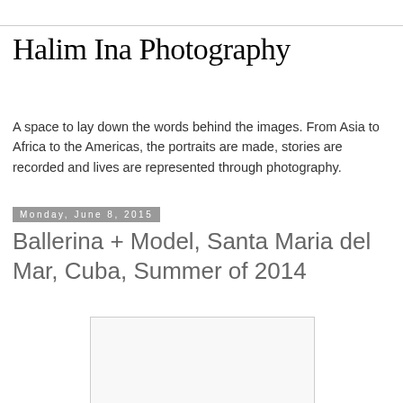Halim Ina Photography
A space to lay down the words behind the images. From Asia to Africa to the Americas, the portraits are made, stories are recorded and lives are represented through photography.
Monday, June 8, 2015
Ballerina + Model, Santa Maria del Mar, Cuba, Summer of 2014
[Figure (photo): Blank/white photo placeholder box]